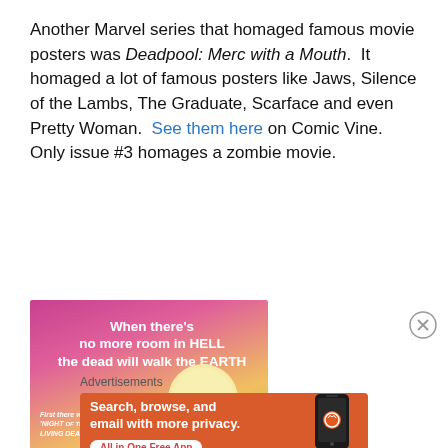Another Marvel series that homaged famous movie posters was Deadpool: Merc with a Mouth.  It homaged a lot of famous posters like Jaws, Silence of the Lambs, The Graduate, Scarface and even Pretty Woman.  See them here on Comic Vine.  Only issue #3 homages a zombie movie.
[Figure (illustration): Comic book cover homage image with pink/magenta gradient background and cream sun. White bold text reads: 'When there's no more room in HELL the dead will walk the EARTH'. Small italic text at bottom left reads: 'First there was NIGHT OF THE LIVING DEAD']
Advertisements
[Figure (photo): DuckDuckGo advertisement banner with orange background. Text: 'Search, browse, and email with more privacy. All in One Free App'. Shows a smartphone and DuckDuckGo logo/branding.]